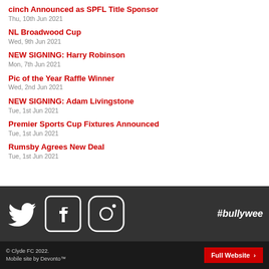cinch Announced as SPFL Title Sponsor
Thu, 10th Jun 2021
NL Broadwood Cup
Wed, 9th Jun 2021
NEW SIGNING: Harry Robinson
Mon, 7th Jun 2021
Pic of the Year Raffle Winner
Wed, 2nd Jun 2021
NEW SIGNING: Adam Livingstone
Tue, 1st Jun 2021
Premier Sports Cup Fixtures Announced
Tue, 1st Jun 2021
Rumsby Agrees New Deal
Tue, 1st Jun 2021
[Figure (infographic): Social media icons: Twitter, Facebook, Instagram. Hashtag #bullywee on the right.]
© Clyde FC 2022.
Mobile site by Devonto™
Full Website >